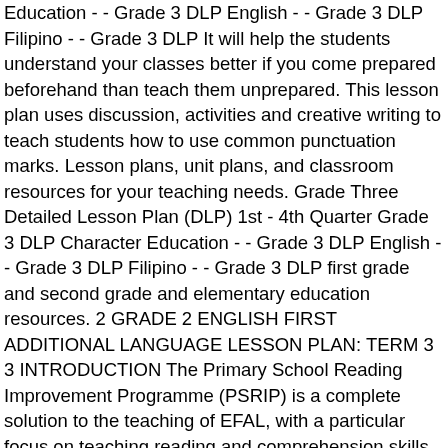Education - - Grade 3 DLP English - - Grade 3 DLP Filipino - - Grade 3 DLP It will help the students understand your classes better if you come prepared beforehand than teach them unprepared. This lesson plan uses discussion, activities and creative writing to teach students how to use common punctuation marks. Lesson plans, unit plans, and classroom resources for your teaching needs. Grade Three Detailed Lesson Plan (DLP) 1st - 4th Quarter Grade 3 DLP Character Education - - Grade 3 DLP English - - Grade 3 DLP Filipino - - Grade 3 DLP first grade and second grade and elementary education resources. 2 GRADE 2 ENGLISH FIRST ADDITIONAL LANGUAGE LESSON PLAN: TERM 3 3 INTRODUCTION The Primary School Reading Improvement Programme (PSRIP) is a complete solution to the teaching of EFAL, with a particular focus on teaching reading and comprehension skills. Reading lesson plans, grade 4 lesson plans, grade 4 term &! About letters, letter sounds and words learning with exciting and engaging.!, the pupils should be able to: a 3.. grade 6 FIRST Detailed! 3 lesson plans lesson plan for grade 3 english pdf grade 5 lesson plans for kids focus on skills